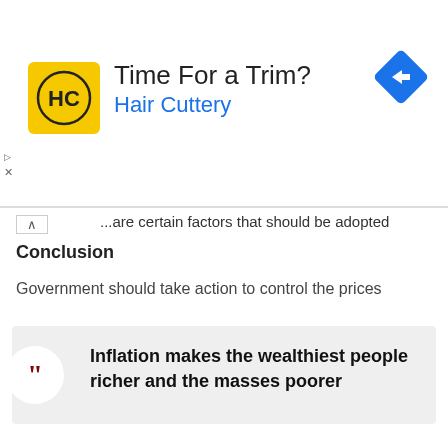[Figure (logo): Hair Cuttery advertisement banner with yellow HC logo, text 'Time For a Trim?' and 'Hair Cuttery' in blue, and a blue diamond navigation icon on the right]
...are certain factors that should be adopted
Conclusion
Government should take action to control the prices
Inflation makes the wealthiest people richer and the masses poorer